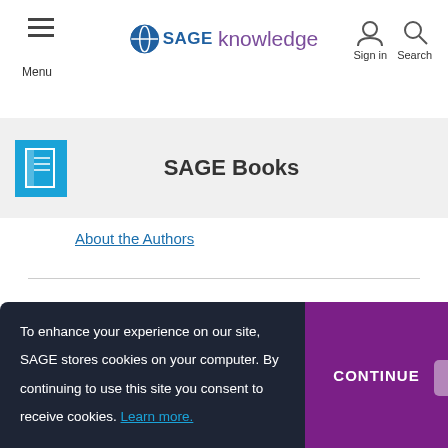SAGE knowledge — Menu, Sign in, Search
SAGE Books
About the Authors
To enhance your experience on our site, SAGE stores cookies on your computer. By continuing to use this site you consent to receive cookies. Learn more.
CONTINUE